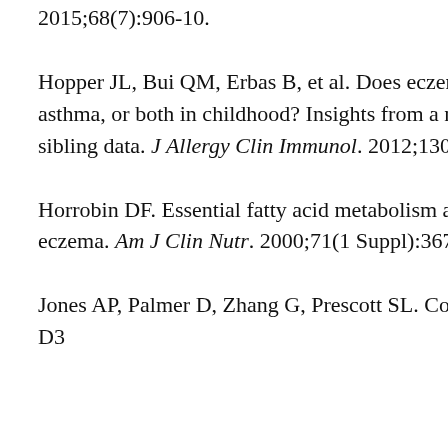2015;68(7):906-10.
Hopper JL, Bui QM, Erbas B, et al. Does eczema in infancy cause hay fever, asthma, or both in childhood? Insights from a novel regression model of sibling data. J Allergy Clin Immunol. 2012;130(5):1117-22.e1.
Horrobin DF. Essential fatty acid metabolism and its modification in atopic eczema. Am J Clin Nutr. 2000;71(1 Suppl):367S-72S.
Jones AP, Palmer D, Zhang G, Prescott SL. Cord blood 25-hydroxyvitamin D3